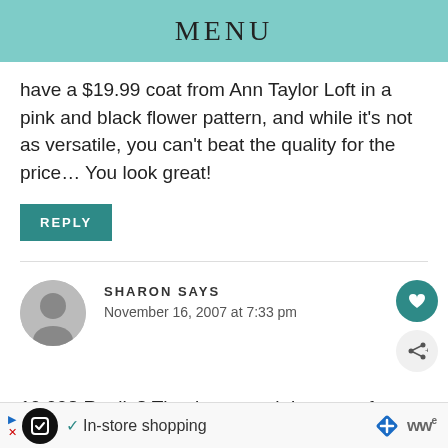MENU
have a $19.99 coat from Ann Taylor Loft in a pink and black flower pattern, and while it's not as versatile, you can't beat the quality for the price... You look great!
REPLY
SHARON SAYS
November 16, 2007 at 7:33 pm
19.99? Really? That is so worth it, even after
✓ In-store shopping